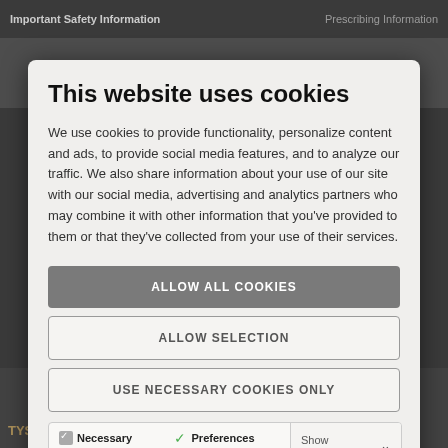Important Safety Information    Prescribing Information
This website uses cookies
We use cookies to provide functionality, personalize content and ads, to provide social media features, and to analyze our traffic. We also share information about your use of our site with our social media, advertising and analytics partners who may combine it with other information that you've provided to them or that they've collected from your use of their services.
ALLOW ALL COOKIES
ALLOW SELECTION
USE NECESSARY COOKIES ONLY
Necessary  Preferences  Statistics  Marketing  Show details